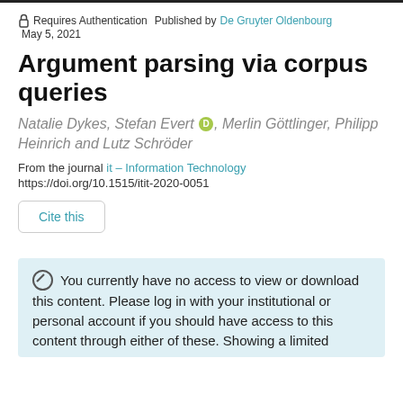🔒 Requires Authentication  Published by De Gruyter Oldenbourg  May 5, 2021
Argument parsing via corpus queries
Natalie Dykes, Stefan Evert [ORCID], Merlin Göttlinger, Philipp Heinrich and Lutz Schröder
From the journal it – Information Technology
https://doi.org/10.1515/itit-2020-0051
Cite this
⊘ You currently have no access to view or download this content. Please log in with your institutional or personal account if you should have access to this content through either of these. Showing a limited